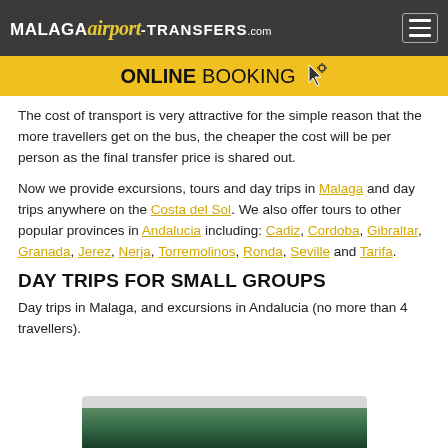MALAGAairport-TRANSFERS.com
ONLINE BOOKING
The cost of transport is very attractive for the simple reason that the more travellers get on the bus, the cheaper the cost will be per person as the final transfer price is shared out.
Now we provide excursions, tours and day trips in Malaga and day trips anywhere on the Costa del Sol. We also offer tours to other popular provinces in Andalucia including: Cadiz, Cordoba, Gibraltar, Granada, Jerez, Nerja, Torremolinos, Ronda, Seville and Tarifa.
DAY TRIPS FOR SMALL GROUPS
Day trips in Malaga, and excursions in Andalucia (no more than 4 travellers).
[Figure (photo): Partial view of a travel destination photo at the bottom of the page]